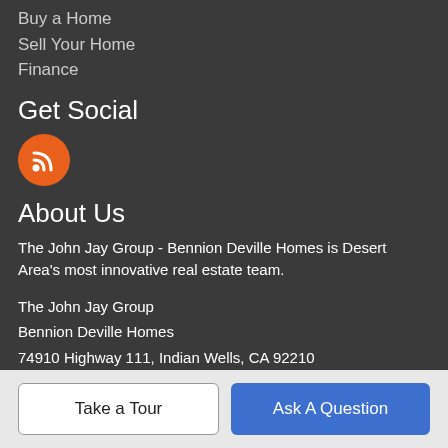Buy a Home
Sell Your Home
Finance
Get Social
[Figure (illustration): Orange circular RSS icon with white WiFi-style signal arcs]
About Us
The John Jay Group - Bennion Deville Homes is Desert Area's most innovative real estate team.
The John Jay Group
Bennion Deville Homes
74910 Highway 111, Indian Wells, CA 92210
(760) 773-3958
Take a Tour
Ask A Question